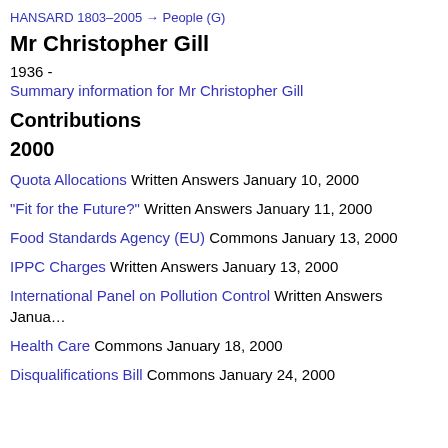HANSARD 1803–2005 → People (G)
Mr Christopher Gill
1936 -
Summary information for Mr Christopher Gill
Contributions
2000
Quota Allocations Written Answers January 10, 2000
"Fit for the Future?" Written Answers January 11, 2000
Food Standards Agency (EU) Commons January 13, 2000
IPPC Charges Written Answers January 13, 2000
International Panel on Pollution Control Written Answers Janua...
Health Care Commons January 18, 2000
Disqualifications Bill Commons January 24, 2000